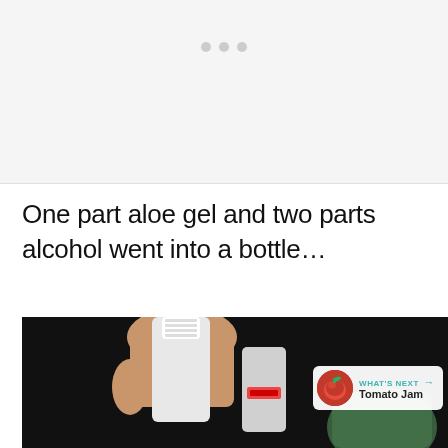[Figure (other): Light gray placeholder area with three gray dots in a row, representing a loading or carousel indicator at the top of the page.]
One part aloe gel and two parts alcohol went into a bottle…
[Figure (photo): A person's hand holding a small white dropper bottle against a dark background, with another white bottle and a green bottle partially visible. A 'What's Next: Tomato Jam' card overlay is visible in the bottom right corner.]